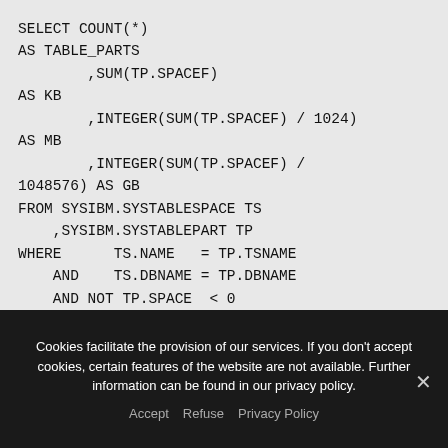SELECT COUNT(*)
AS TABLE_PARTS
        ,SUM(TP.SPACEF)
AS KB
        ,INTEGER(SUM(TP.SPACEF) / 1024)
AS MB
        ,INTEGER(SUM(TP.SPACEF) /
1048576) AS GB
FROM SYSIBM.SYSTABLESPACE TS
    ,SYSIBM.SYSTABLEPART TP
WHERE      TS.NAME   = TP.TSNAME
    AND    TS.DBNAME = TP.DBNAME
    AND NOT TP.SPACE  < 0
Cookies facilitate the provision of our services. If you don't accept cookies, certain features of the website are not available. Further information can be found in our privacy policy.
Accept  Refuse  Privacy Policy